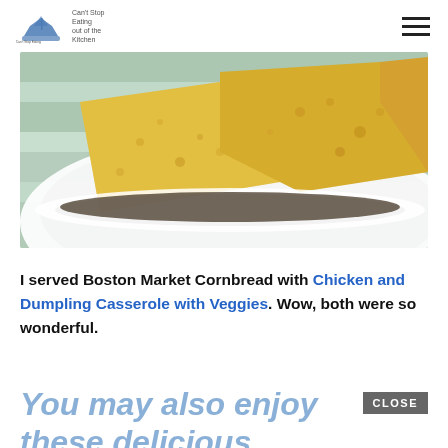[logo: Can't Stop Eating Out of the Kitchen] [hamburger menu]
[Figure (photo): Close-up photo of golden cornbread slices in a white bowl on a green and white striped cloth]
I served Boston Market Cornbread with Chicken and Dumpling Casserole with Veggies. Wow, both were so wonderful.
You may also enjoy these delicious recipes!